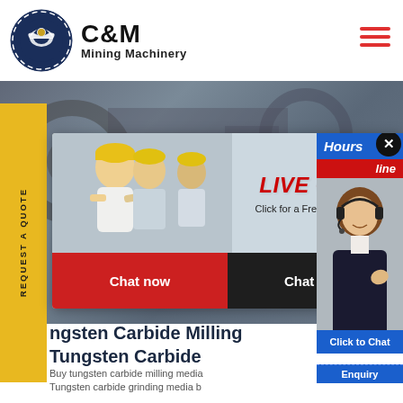[Figure (logo): C&M Mining Machinery logo — circular emblem with eagle/gear design in navy blue, with company name 'C&M Mining Machinery' in bold black text]
[Figure (photo): Hero background image showing industrial mining machinery in a workshop setting]
[Figure (screenshot): Live chat popup overlay showing workers in yellow hard hats, LIVE CHAT text in red, subtitle 'Click for a Free Consultation', with Chat now (red) and Chat later (black) buttons]
[Figure (photo): Right panel showing customer service representative with headset, overlaid with blue 'Hours' bar, red 'online' bar, close button, and 'Click to Chat' blue button]
ngsten Carbide Milling Tungsten Carbide
Buy tungsten carbide milling media Tungsten carbide grinding media b